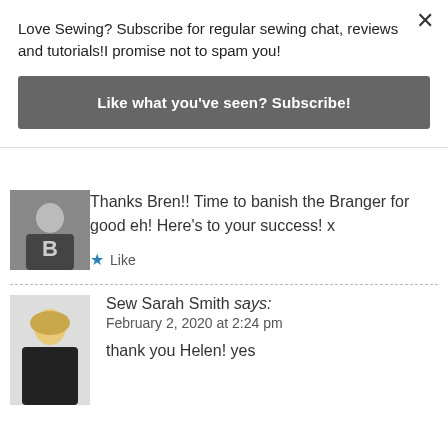Love Sewing? Subscribe for regular sewing chat, reviews and tutorials!I promise not to spam you!
Like what you've seen? Subscribe!
Thanks Bren!! Time to banish the Branger for good eh! Here’s to your success! x
★ Like
Sew Sarah Smith says:
February 2, 2020 at 2:24 pm
thank you Helen! yes